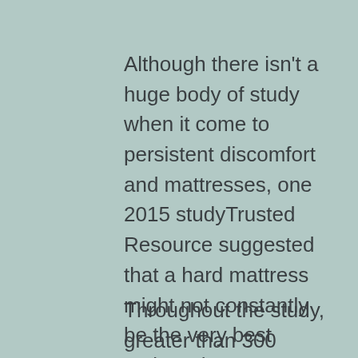Although there isn't a huge body of study when it come to persistent discomfort and mattresses, one 2015 studyTrusted Resource suggested that a hard mattress might not constantly be the very best option when attempting to improve your rest quality as well as lower pain.
Throughout the study, greater than 300 people with low back pain slept on bed